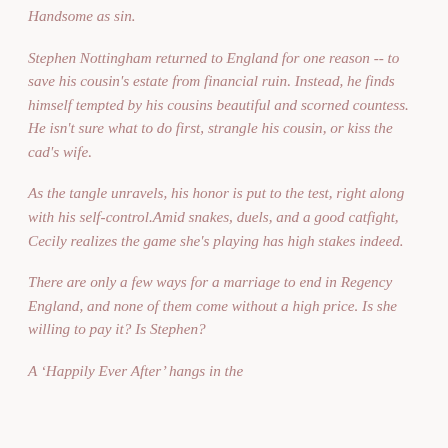Handsome as sin.
Stephen Nottingham returned to England for one reason -- to save his cousin's estate from financial ruin. Instead, he finds himself tempted by his cousins beautiful and scorned countess. He isn't sure what to do first, strangle his cousin, or kiss the cad's wife.
As the tangle unravels, his honor is put to the test, right along with his self-control.Amid snakes, duels, and a good catfight, Cecily realizes the game she's playing has high stakes indeed.
There are only a few ways for a marriage to end in Regency England, and none of them come without a high price. Is she willing to pay it? Is Stephen?
A ‘Happily Ever After’ hangs in the